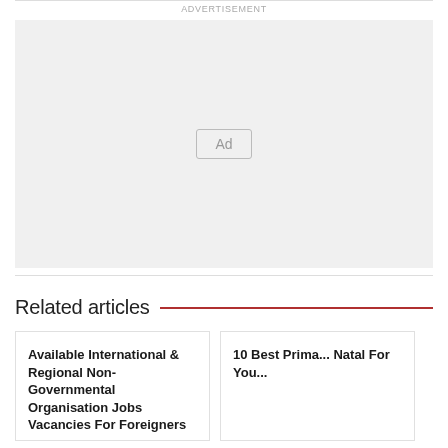ADVERTISEMENT
[Figure (other): Advertisement placeholder box with 'Ad' button in the center]
Related articles
Available International & Regional Non-Governmental Organisation Jobs Vacancies For Foreigners
10 Best Prima... Natal For You...